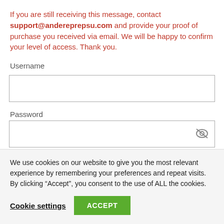If you are still receiving this message, contact support@andereprepsu.com and provide your proof of purchase you received via email. We will be happy to confirm your level of access. Thank you.
Username
Password
We use cookies on our website to give you the most relevant experience by remembering your preferences and repeat visits. By clicking “Accept”, you consent to the use of ALL the cookies.
Cookie settings
ACCEPT